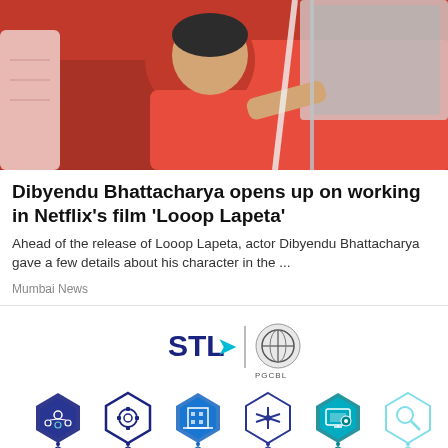[Figure (photo): Person in red clothing leaning out of or near a red vehicle, viewed from side angle]
Dibyendu Bhattacharya opens up on working in Netflix's film 'Looop Lapeta'
Ahead of the release of Looop Lapeta, actor Dibyendu Bhattacharya gave a few details about his character in the ...
Mumbai News
[Figure (infographic): STL and PGCIL logos with six hexagonal icons representing: Easy transition from legacy to future-ready networks, Interoperability, Design Engineering to achieve High SLA, Low Latency and Resilience, Advanced automation, Centralised platform monitoring]